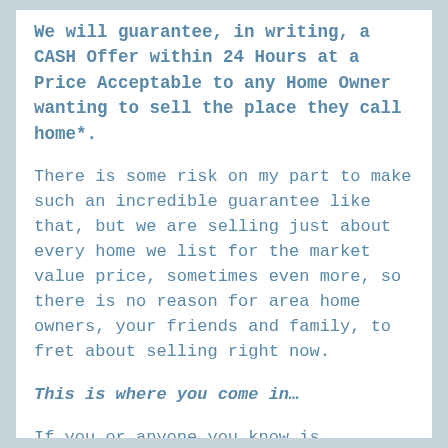We will guarantee, in writing, a CASH Offer within 24 Hours at a Price Acceptable to any Home Owner wanting to sell the place they call home*.
There is some risk on my part to make such an incredible guarantee like that, but we are selling just about every home we list for the market value price, sometimes even more, so there is no reason for area home owners, your friends and family, to fret about selling right now.
This is where you come in…
If you or anyone you know is considering making a move, we would like to offer them a FREE Mo…